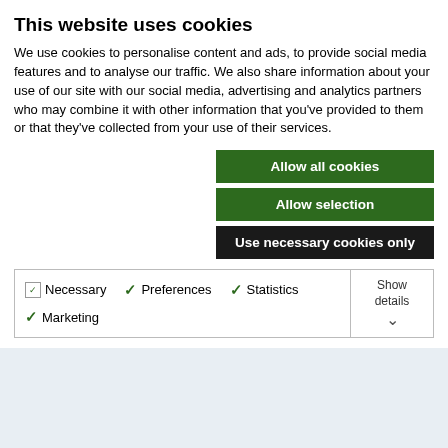This website uses cookies
We use cookies to personalise content and ads, to provide social media features and to analyse our traffic. We also share information about your use of our site with our social media, advertising and analytics partners who may combine it with other information that you've provided to them or that they've collected from your use of their services.
Allow all cookies
Allow selection
Use necessary cookies only
Necessary  Preferences  Statistics  Marketing  Show details
Phone +1.612.309.6792
or Contact by Email